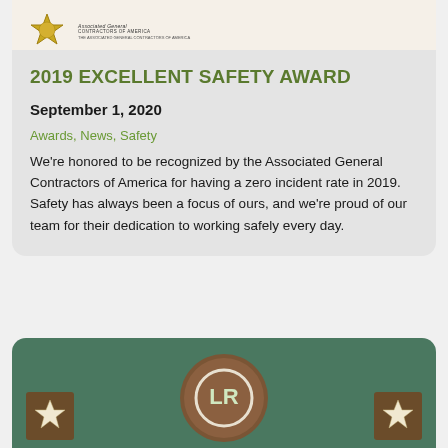[Figure (photo): Top card with medal/seal and AGC logo on cream background]
2019 EXCELLENT SAFETY AWARD
September 1, 2020
Awards, News, Safety
We're honored to be recognized by the Associated General Contractors of America for having a zero incident rate in 2019. Safety has always been a focus of ours, and we're proud of our team for their dedication to working safely every day.
[Figure (photo): Green background display with wooden circular LR logo plaque in center, flanked by two wooden star plaques on left and right]